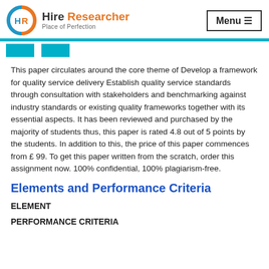[Figure (logo): Hire Researcher logo with circular HR icon in blue and orange, text 'Hire Researcher' and 'Place of Perfection']
This paper circulates around the core theme of Develop a framework for quality service delivery Establish quality service standards through consultation with stakeholders and benchmarking against industry standards or existing quality frameworks together with its essential aspects. It has been reviewed and purchased by the majority of students thus, this paper is rated 4.8 out of 5 points by the students. In addition to this, the price of this paper commences from £ 99. To get this paper written from the scratch, order this assignment now. 100% confidential, 100% plagiarism-free.
Elements and Performance Criteria
ELEMENT
PERFORMANCE CRITERIA